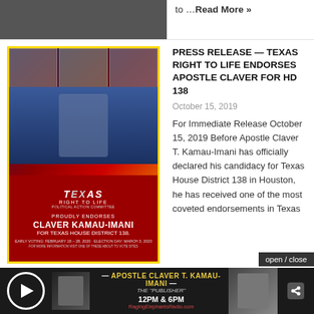to …Read More »
[Figure (photo): Texas Right to Life endorsement graphic for Claver Kamau-Imani for Texas House District 138, with photos of people and red/blue/gold design]
PRESS RELEASE — TEXAS RIGHT TO LIFE ENDORSES APOSTLE CLAVER FOR HD 138
October 15, 2019
For Immediate Release October 15, 2019 Before Apostle Claver T. Kamau-Imani has officially declared his candidacy for Texas House District 138 in Houston, he has received one of the most coveted endorsements in Texas politics. …Read More »
[Figure (photo): Placeholder image for second press release article]
PRESS RELEASE — APOSTLE CLAVER FORMS AN EXPLORATORY COMMITTEE FOR HD138 RUN
October 10, 2019
For Immediate Release October 10, 2019 In preparation...
[Figure (screenshot): Media bar: Apostle Claver T. Kamau-Imani radio show, 12PM & 6PM]